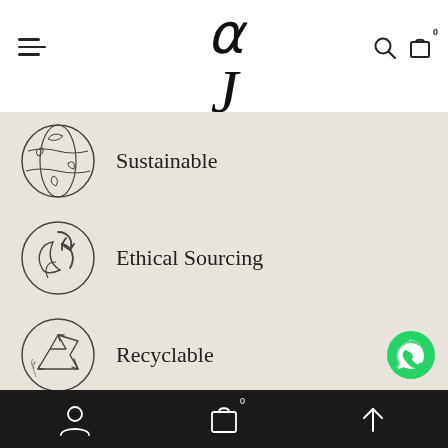[Figure (logo): The Jewels Jar logo with stylized J and brand name]
Sustainable
Ethical Sourcing
Recyclable
[Figure (other): WhatsApp contact button]
Navigation bar with account, bag (0), and scroll-to-top icons